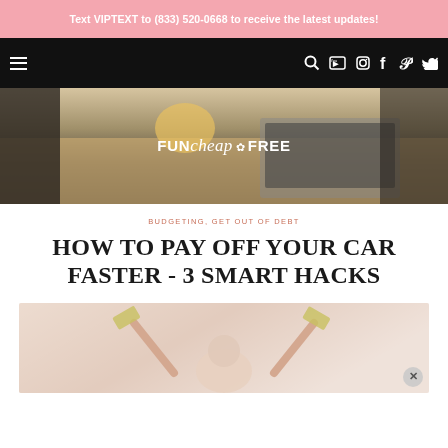Text VIPTEXT to (833) 520-0668 to receive the latest updates!
[Figure (screenshot): Black navigation bar with hamburger menu on left and social media icons (search, YouTube, Instagram, Facebook, Pinterest, Twitter) on right]
[Figure (photo): Fun Cheap or Free blog logo overlaid on a photo of a person working at a wooden desk with a laptop]
BUDGETING, GET OUT OF DEBT
HOW TO PAY OFF YOUR CAR FASTER - 3 SMART HACKS
[Figure (photo): Person with arms raised holding dollar bills against a light background, with a close (X) button overlay in lower right]